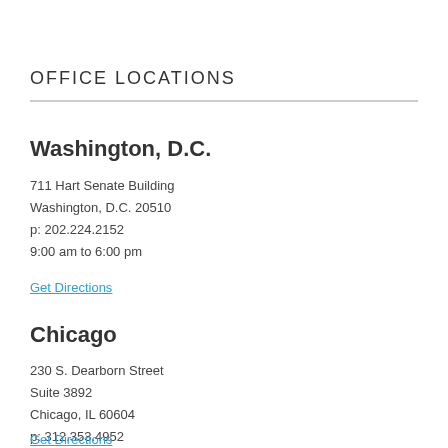OFFICE LOCATIONS
Washington, D.C.
711 Hart Senate Building
Washington, D.C. 20510
p: 202.224.2152
9:00 am to 6:00 pm
Get Directions
Chicago
230 S. Dearborn Street
Suite 3892
Chicago, IL 60604
p: 312.353.4952
8:30 am to 5:00 pm
Get Directions